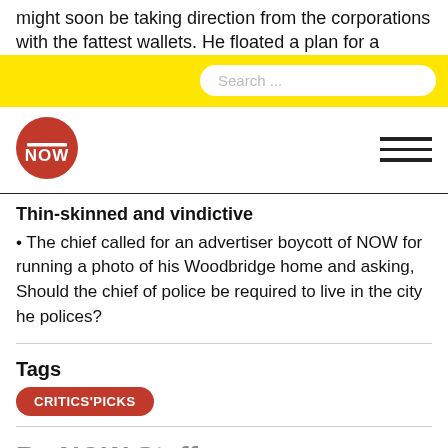might soon be taking direction from the corporations with the fattest wallets. He floated a plan for a
Search ...
[Figure (logo): NOW magazine red circular logo with white NOW text]
Thin-skinned and vindictive
• The chief called for an advertiser boycott of NOW for running a photo of his Woodbridge home and asking, Should the chief of police be required to live in the city he polices?
Tags
CRITICS'PICKS
By NOW Staff